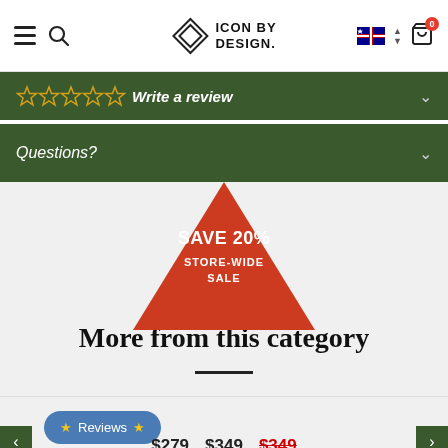[Figure (screenshot): Icon by Design website header with hamburger menu, search icon, logo, Australian flag, and cart icon with 0 badge]
Write a review
Questions?
[Figure (infographic): Red downward-pointing triangle banner with text SAVE 20% STORE-WIDE SALE]
More from this category
★ Reviews ★
$279  $349  $349